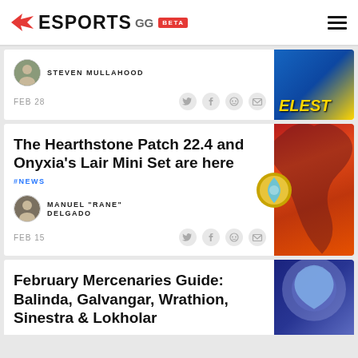ESPORTS GG BETA
STEVEN MULLAHOOD
FEB 28
The Hearthstone Patch 22.4 and Onyxia's Lair Mini Set are here
#NEWS
MANUEL "RANE" DELGADO
FEB 15
February Mercenaries Guide: Balinda, Galvangar, Wrathion, Sinestra & Lokholar